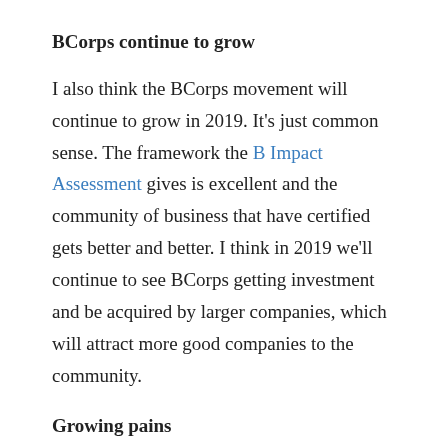BCorps continue to grow
I also think the BCorps movement will continue to grow in 2019. It’s just common sense. The framework the B Impact Assessment gives is excellent and the community of business that have certified gets better and better. I think in 2019 we’ll continue to see BCorps getting investment and be acquired by larger companies, which will attract more good companies to the community.
Growing pains
Unfortunately, I think the impact investing sector is now getting to a scale where there will be a big scandal at some point. My guess is that it will come from the world of very rich people dabbling in impact investing